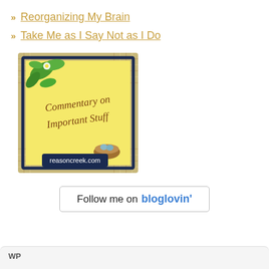Reorganizing My Brain
Take Me as I Say Not as I Do
[Figure (illustration): A decorative badge/logo with a yellow background, plaid border in tan and navy, green leafy branch in the upper left corner, a bird's nest with eggs in the lower right corner, cursive text reading 'Commentary on Important Stuff', and a dark navy label at the bottom reading 'reasoncreek.com']
[Figure (illustration): A 'Follow me on bloglovin'' button with rounded rectangle border]
WP ...